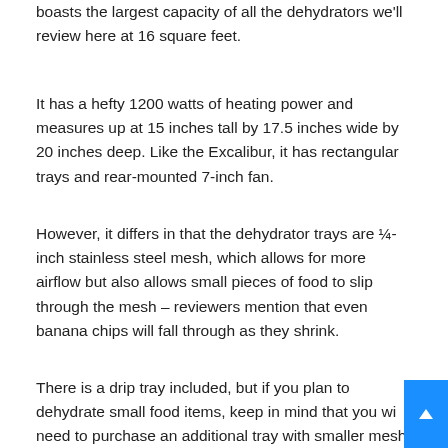boasts the largest capacity of all the dehydrators we'll review here at 16 square feet.
It has a hefty 1200 watts of heating power and measures up at 15 inches tall by 17.5 inches wide by 20 inches deep. Like the Excalibur, it has rectangular trays and rear-mounted 7-inch fan.
However, it differs in that the dehydrator trays are ¼-inch stainless steel mesh, which allows for more airflow but also allows small pieces of food to slip through the mesh – reviewers mention that even banana chips will fall through as they shrink.
There is a drip tray included, but if you plan to dehydrate small food items, keep in mind that you will need to purchase an additional tray with smaller mesh, or use parchment paper or a silicon mat on top of the